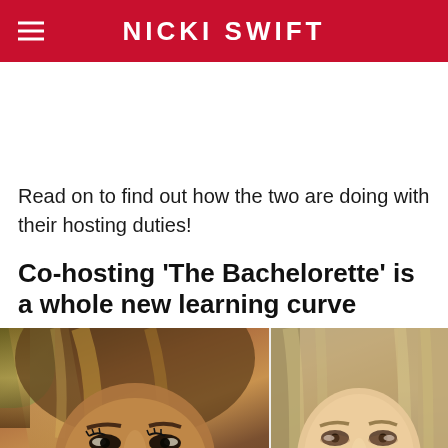NICKI SWIFT
Read on to find out how the two are doing with their hosting duties!
Co-hosting 'The Bachelorette' is a whole new learning curve
[Figure (photo): Two women photographed side by side in a split image. Left: a woman with dark skin and highlighted blonde/brown hair. Right: a woman with fair skin and straight light brown/blonde hair.]